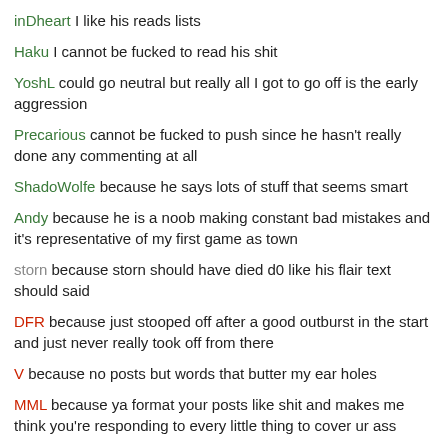inDheart I like his reads lists
Haku I cannot be fucked to read his shit
YoshL could go neutral but really all I got to go off is the early aggression
Precarious cannot be fucked to push since he hasn't really done any commenting at all
ShadoWolfe because he says lots of stuff that seems smart
Andy because he is a noob making constant bad mistakes and it's representative of my first game as town
storn because storn should have died d0 like his flair text should said
DFR because just stooped off after a good outburst in the start and just never really took off from there
V because no posts but words that butter my ear holes
MML because ya format your posts like shit and makes me think you're responding to every little thing to cover ur ass
Zenith because I didn't like his attitude d0 and his long string of posting d1 makes me think he's trying to do the same thing as MML
roundbox because the dude is obviously a fool like it's so OBviOUS